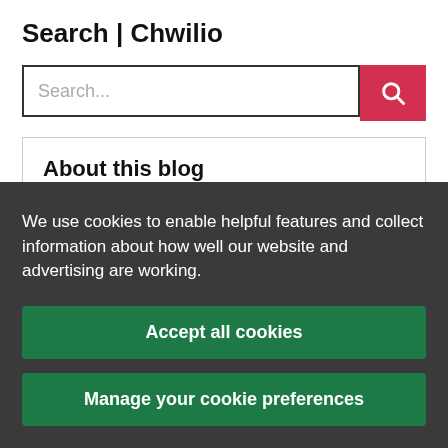Search | Chwilio
[Figure (screenshot): Search input box with placeholder text 'Search...' and a red search button with magnifying glass icon]
About this blog
We use cookies to enable helpful features and collect information about how well our website and advertising are working.
Accept all cookies
Manage your cookie preferences